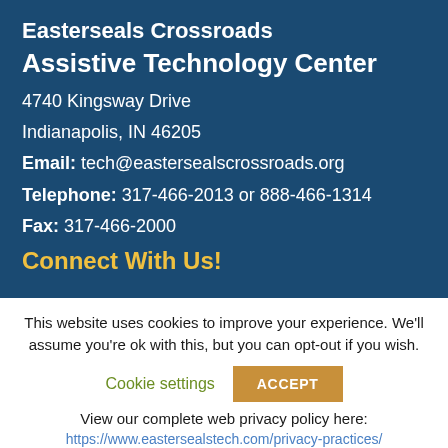Easterseals Crossroads
Assistive Technology Center
4740 Kingsway Drive
Indianapolis, IN 46205
Email: tech@eastersealscrossroads.org
Telephone: 317-466-2013 or 888-466-1314
Fax: 317-466-2000
Connect With Us!
This website uses cookies to improve your experience. We'll assume you're ok with this, but you can opt-out if you wish.
Cookie settings    ACCEPT
View our complete web privacy policy here:
https://www.eastersealstech.com/privacy-practices/